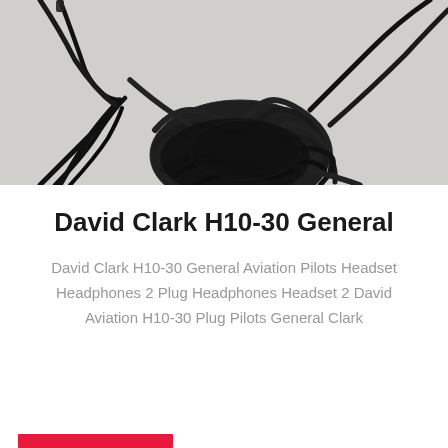[Figure (photo): Close-up photo of a bundled black cable/cord tied in a knot, resting on a light gray or white fabric surface.]
David Clark H10-30 General
David Clark H10-30 General Aviation Pilots Headset Headphones 2 Plug Headphones Headset 2 David Aviation H10-30 Plug Pilots General Clark